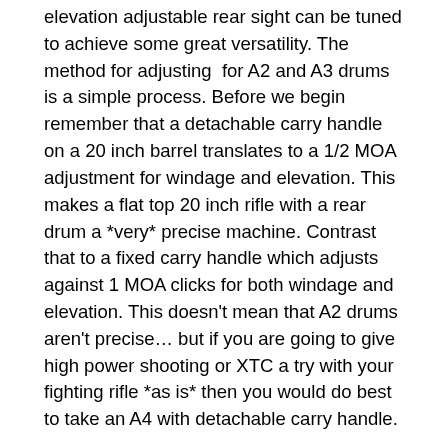elevation adjustable rear sight can be tuned to achieve some great versatility. The method for adjusting for A2 and A3 drums is a simple process. Before we begin remember that a detachable carry handle on a 20 inch barrel translates to a 1/2 MOA adjustment for windage and elevation. This makes a flat top 20 inch rifle with a rear drum a *very* precise machine. Contrast that to a fixed carry handle which adjusts against 1 MOA clicks for both windage and elevation. This doesn't mean that A2 drums aren't precise… but if you are going to give high power shooting or XTC a try with your fighting rifle *as is* then you would do best to take an A4 with detachable carry handle.
What the IBZ does is allow for adjustments to be made below the 6/3 setting of the elevation drum. Instead of using the large aperture for 0-200 meters, you can configure your rear sight with the IBZ method and get a working 50 meter zero using the small aperture and yet retain the adjustments of 300-600 meters. The 50 meter zero is amazingly useful. At the apex of a 62 grain